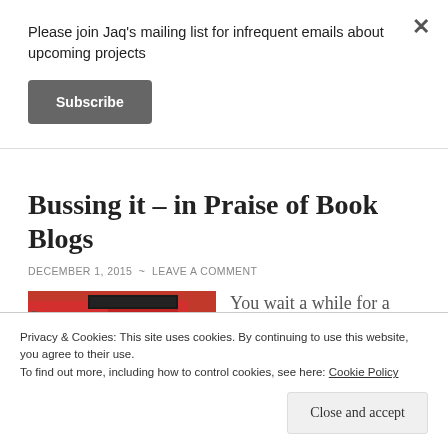Please join Jaq's mailing list for infrequent emails about upcoming projects
Subscribe
Bussing it – in Praise of Book Blogs
DECEMBER 1, 2015 ~ LEAVE A COMMENT
[Figure (photo): Red London bus close-up photograph]
You wait a while for a
Privacy & Cookies: This site uses cookies. By continuing to use this website, you agree to their use.
To find out more, including how to control cookies, see here: Cookie Policy
Close and accept